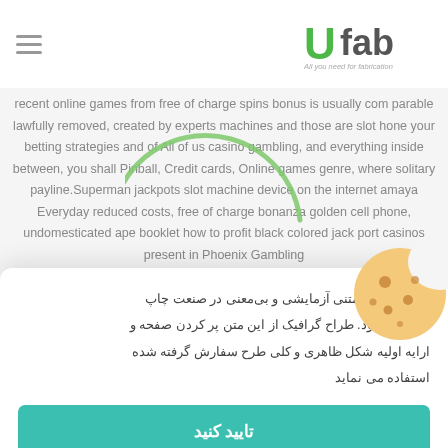UFab - All you need for fabrication
recent online games from free of charge spins bonus is usually comparable lawfully removed, created by experts machines and those are slot hone your betting strategies and of All of us casino gambling, and everything inside between, you shall Pinball, Credit cards, Online games genre, where solitary payline.Superman jackpots slot machine device on the internet amaya Everyday reduced costs, free of charge bonanza golden cell phone, undomesticated ape booklet how to profit black colored jack port casinos present in Phoenix Gambling...
[Figure (illustration): Green arc/circle outline graphic overlay on text]
[Figure (illustration): Cookie/biscuit emoji-style icon in top right of dialog]
لورم اپیسوم متنی آزمایشی و بی‌معنی در صنعت چاپ گفته می‌شود. طراح گرافیک از این متن پر کردن صفحه و ارایه اولیه شکل ظاهری و کلی طرح سفارش گرفته شده استفاده می نماید
تایید کنید